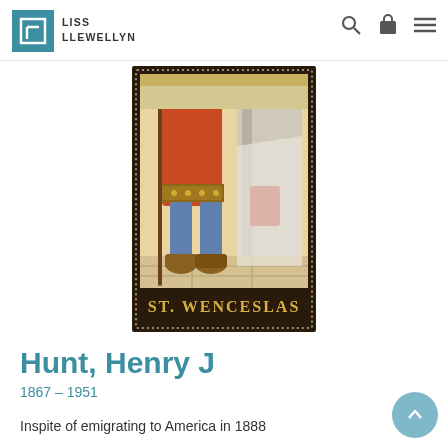LISS LLEWELLYN
[Figure (illustration): Stained glass window panel depicting St. Wenceslas, showing lower body of a figure in orange tunic and blue leggings holding a staff, with text 'ST. WENCESLAS' at the bottom, bordered with decorative dotted frame.]
Hunt, Henry J
1867 – 1951
Inspite of emigrating to America in 1888